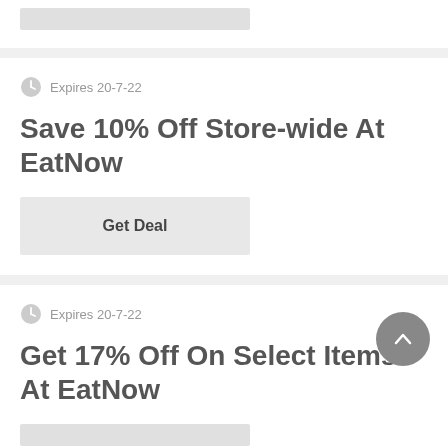[Figure (screenshot): Partial coupon card at top showing a grey stub bar]
Expires 20-7-22
Save 10% Off Store-wide At EatNow
Get Deal
Expires 20-7-22
Get 17% Off On Select Items At EatNow